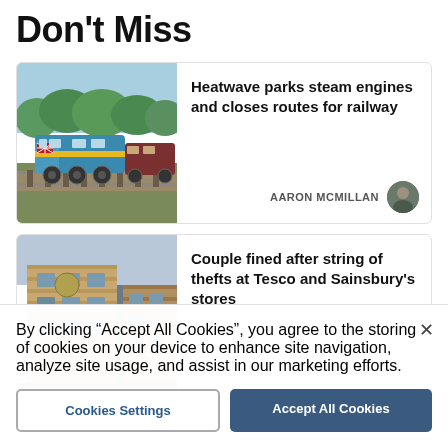Don't Miss
[Figure (photo): Blue and yellow diesel locomotive on railway tracks with green trees in background]
Heatwave parks steam engines and closes routes for railway
AARON MCMILLAN
[Figure (photo): Brick building exterior with signage, viewed from below at an angle]
Couple fined after string of thefts at Tesco and Sainsbury's stores
By clicking "Accept All Cookies", you agree to the storing of cookies on your device to enhance site navigation, analyze site usage, and assist in our marketing efforts.
Cookies Settings
Accept All Cookies